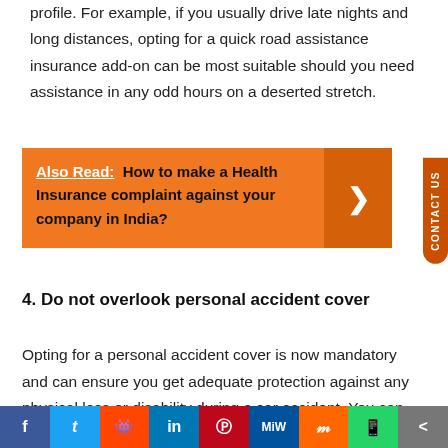profile. For example, if you usually drive late nights and long distances, opting for a quick road assistance insurance add-on can be most suitable should you need assistance in any odd hours on a deserted stretch.
Also Read:  How to make a Health Insurance complaint against your company in India?
4. Do not overlook personal accident cover
Opting for a personal accident cover is now mandatory and can ensure you get adequate protection against any physical loss or disability during a car accident. You can also avail this cover for any and all passengers in your vehicle based on its seating capacity.
[Figure (infographic): Social media sharing bar with icons for Facebook, Twitter, Reddit, LinkedIn, Pinterest, MeWe, Mix, WhatsApp, and share button]